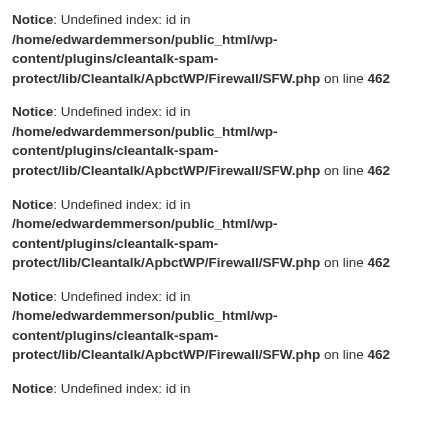Notice: Undefined index: id in /home/edwardemmerson/public_html/wp-content/plugins/cleantalk-spam-protect/lib/Cleantalk/ApbctWP/Firewall/SFW.php on line 462
Notice: Undefined index: id in /home/edwardemmerson/public_html/wp-content/plugins/cleantalk-spam-protect/lib/Cleantalk/ApbctWP/Firewall/SFW.php on line 462
Notice: Undefined index: id in /home/edwardemmerson/public_html/wp-content/plugins/cleantalk-spam-protect/lib/Cleantalk/ApbctWP/Firewall/SFW.php on line 462
Notice: Undefined index: id in /home/edwardemmerson/public_html/wp-content/plugins/cleantalk-spam-protect/lib/Cleantalk/ApbctWP/Firewall/SFW.php on line 462
Notice: Undefined index: id in